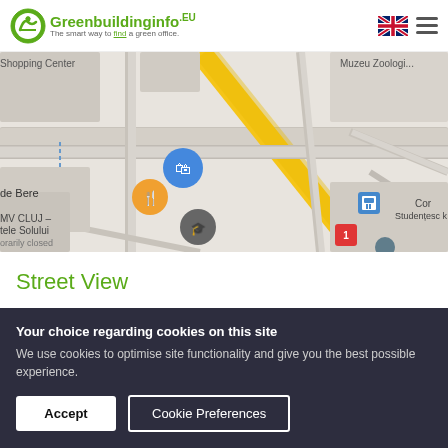Greenbuildinginfo.eu — The smart way to find a green office.
[Figure (map): Google Maps view showing a street map with location pins including Căminul 16, Căminul 17, MV CLUJ - tele Solului (temporarily closed), de Bere restaurant, bus stops, and shopping center area in Cluj, Romania.]
Street View
Your choice regarding cookies on this site
We use cookies to optimise site functionality and give you the best possible experience.
Accept   Cookie Preferences